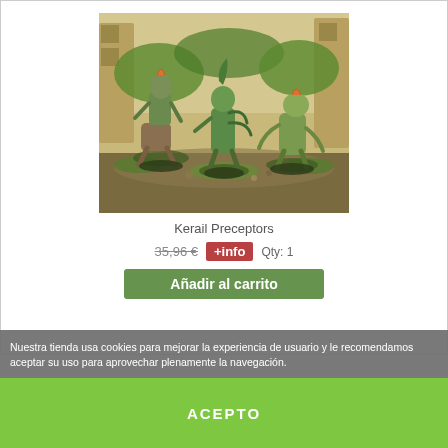[Figure (photo): Three painted fantasy/sci-fi miniature figures on scenic bases with foliage and stone background. Green and brown color scheme, alien lizard-like creatures.]
Kerail Preceptors
35,96 €	+info	Qty: 1
Añadir al carrito
Nuestra tienda usa cookies para mejorar la experiencia de usuario y le recomendamos aceptar su uso para aprovechar plenamente la navegación.
Más información   Gestionar cookies
ACEPTO